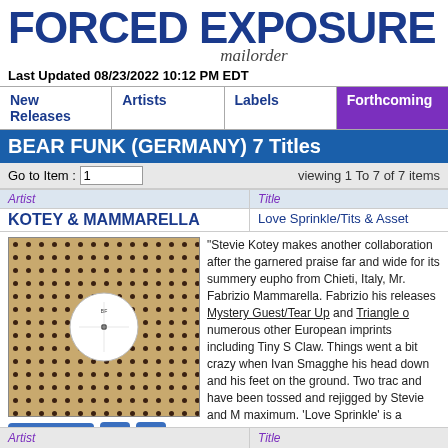FORCED EXPOSURE mailorder
Last Updated 08/23/2022 10:12 PM EDT
New Releases | Artists | Labels | Forthcoming
BEAR FUNK (GERMANY) 7 Titles
Go to Item : 1    viewing 1 To 7 of 7 items
| Artist | Title |
| --- | --- |
| KOTEY & MAMMARELLA | Love Sprinkle/Tits & Asset |
[Figure (photo): Album cover image - brown/tan perforated cardboard sleeve with black dots pattern and white circular label in center]
"Stevie Kotey makes another collaboration after the... garnered praise far and wide for its summery eupho... from Chieti, Italy, Mr. Fabrizio Mammarella. Fabrizio... his releases Mystery Guest/Tear Up and Triangle o... numerous other European imprints including Tiny S... Claw. Things went a bit crazy when Ivan Smagghe... his head down and his feet on the ground. Two trac... and have been tossed and rejigged by Stevie and M... maximum. 'Love Sprinkle' is a cheeky splash of the... drums, percussion and more synths from Fabrizio.... xylophone psych-out for the heads and the feet! Th... trippier with the funk. Then there's the influence of M... end result."
add to cart  $10.00  IN STOCK
| Artist | Title |
| --- | --- |